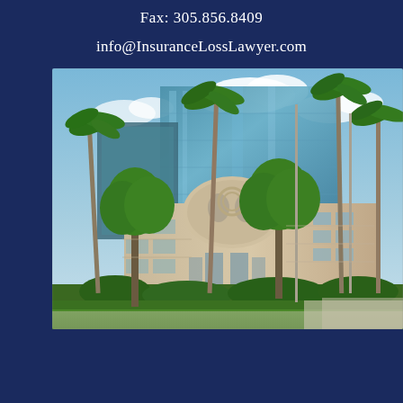Fax: 305.856.8409
info@InsuranceLossLawyer.com
[Figure (photo): Exterior photograph of a modern office building with glass facade, palm trees, and lush landscaping in a Miami-area setting.]